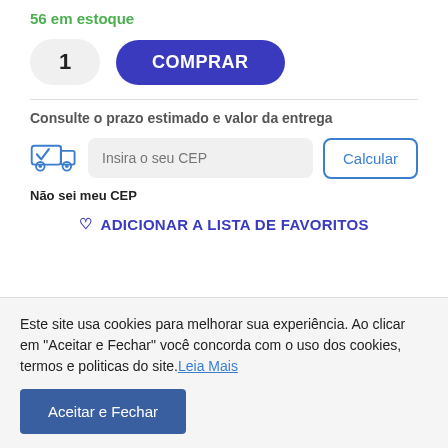56 em estoque
1 | COMPRAR
Consulte o prazo estimado e valor da entrega
[Figure (illustration): Truck delivery icon with a checkmark]
Insira o seu CEP
Calcular
Não sei meu CEP
ADICIONAR A LISTA DE FAVORITOS
Este site usa cookies para melhorar sua experiência. Ao clicar em "Aceitar e Fechar" você concorda com o uso dos cookies, termos e politicas do site. Leia Mais
Aceitar e Fechar